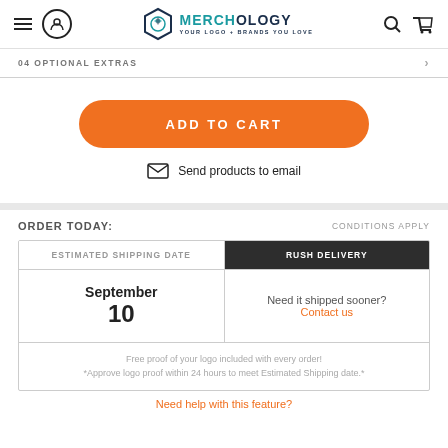Merchology — Your Logo + Brands You Love
04 OPTIONAL EXTRAS
ADD TO CART
Send products to email
ORDER TODAY:
CONDITIONS APPLY
| ESTIMATED SHIPPING DATE | RUSH DELIVERY |
| --- | --- |
| September
10 | Need it shipped sooner?
Contact us |
| Free proof of your logo included with every order!
*Approve logo proof within 24 hours to meet Estimated Shipping date.* |  |